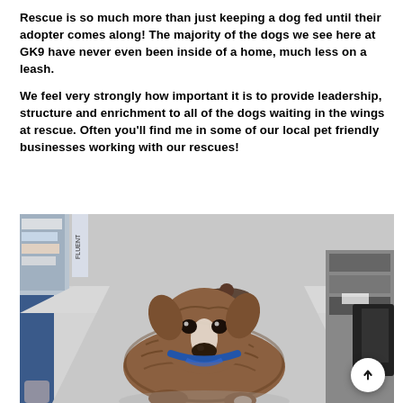Rescue is so much more than just keeping a dog fed until their adopter comes along! The majority of the dogs we see here at GK9 have never even been inside of a home, much less on a leash.
We feel very strongly how important it is to provide leadership, structure and enrichment to all of the dogs waiting in the wings at rescue. Often you'll find me in some of our local pet friendly businesses working with our rescues!
[Figure (photo): A brindle pit bull mix dog lying on the floor of a pet store aisle, looking at the camera with a blue collar/bandana. Another dog is visible in the background of the store aisle.]